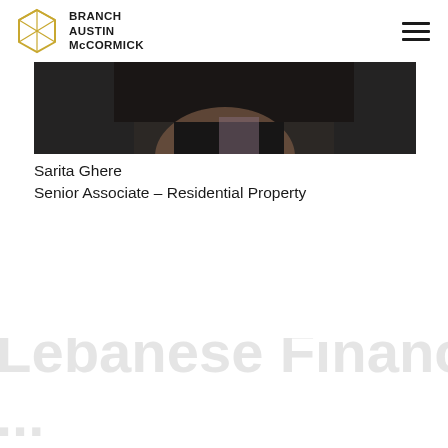BRANCH AUSTIN McCORMICK
[Figure (photo): Partial photo of a woman with dark hair, cropped at the head/shoulder area, dark background]
Sarita Ghere
Senior Associate – Residential Property
Lebanese Financial [watermark, partially visible]